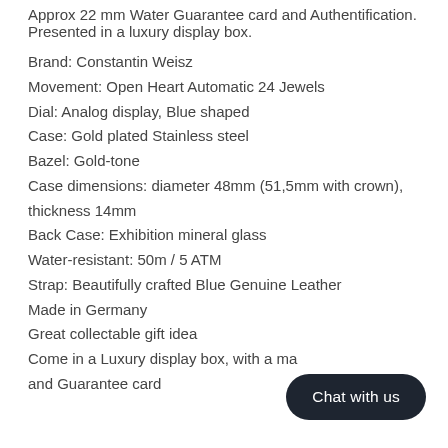Approx 22 mm Water Guarantee card and Authentification. Presented in a luxury display box.
Brand: Constantin Weisz
Movement: Open Heart Automatic 24 Jewels
Dial: Analog display, Blue shaped
Case: Gold plated Stainless steel
Bazel: Gold-tone
Case dimensions: diameter 48mm (51,5mm with crown), thickness 14mm
Back Case: Exhibition mineral glass
Water-resistant: 50m / 5 ATM
Strap: Beautifully crafted Blue Genuine Leather
Made in Germany
Great collectable gift idea
Come in a Luxury display box, with a ma... and Guarantee card